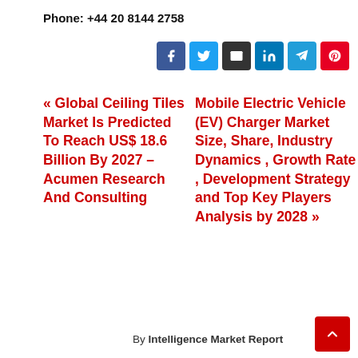Phone: +44 20 8144 2758
[Figure (other): Row of social media share buttons: Facebook, Twitter, Email, LinkedIn, Telegram, Pinterest]
<< Global Ceiling Tiles Market Is Predicted To Reach US$ 18.6 Billion By 2027 – Acumen Research And Consulting
Mobile Electric Vehicle (EV) Charger Market Size, Share, Industry Dynamics , Growth Rate , Development Strategy and Top Key Players Analysis by 2028 >>
By Intelligence Market Report